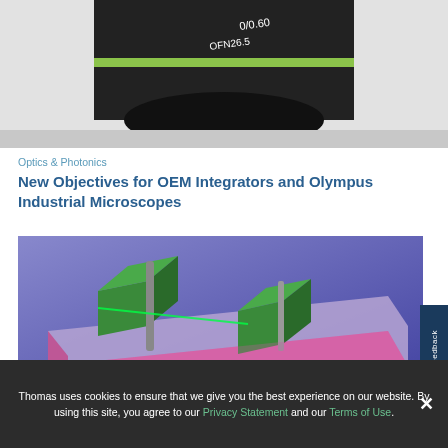[Figure (photo): Close-up photo of a dark microscope objective lens with a green stripe, labeled with markings including '0/0.60' and 'OFN26.5', against a light gray background.]
Optics & Photonics
New Objectives for OEM Integrators and Olympus Industrial Microscopes
[Figure (photo): Photo of optical prism cubes on a reflective surface with pink/magenta edges against a blue-purple background, with a laser beam visible passing through the prisms.]
Thomas uses cookies to ensure that we give you the best experience on our website. By using this site, you agree to our Privacy Statement and our Terms of Use.